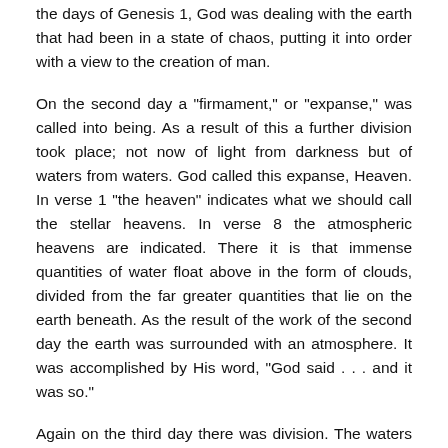the days of Genesis 1, God was dealing with the earth that had been in a state of chaos, putting it into order with a view to the creation of man.
On the second day a "firmament," or "expanse," was called into being. As a result of this a further division took place; not now of light from darkness but of waters from waters. God called this expanse, Heaven. In verse 1 "the heaven" indicates what we should call the stellar heavens. In verse 8 the atmospheric heavens are indicated. There it is that immense quantities of water float above in the form of clouds, divided from the far greater quantities that lie on the earth beneath. As the result of the work of the second day the earth was surrounded with an atmosphere. It was accomplished by His word, "God said . . . and it was so."
Again on the third day there was division. The waters above the expanse were not affected but those beneath were gathered together into one place, and this permitted dry land to appear. In result that which was stable and fixed appeared, where previously all had been unstable and m motion. Other